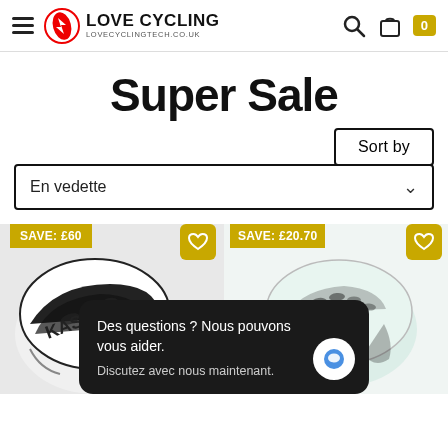Love Cycling — LOVECYCLINGTECH.CO.UK
Super Sale
Sort by
En vedette
[Figure (photo): White Kask cycling helmet on left product card with SAVE: £60 badge and heart wishlist button]
[Figure (photo): White cycling helmet on right product card with SAVE: £20.70 badge and heart wishlist button]
Des questions ? Nous pouvons vous aider. Discutez avec nous maintenant.